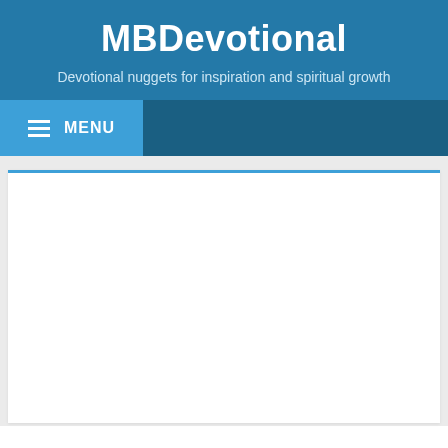MBDevotional
Devotional nuggets for inspiration and spiritual growth
MENU
[Figure (screenshot): White content card area with a blue top border, displayed below the navigation bar on a light gray background]